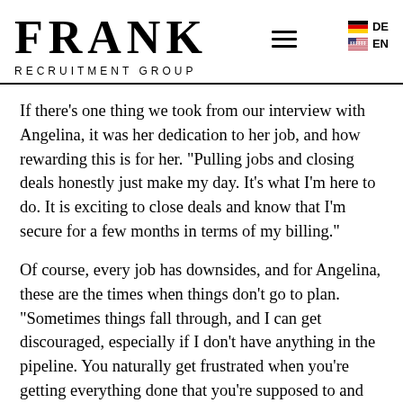FRANK RECRUITMENT GROUP
If there’s one thing we took from our interview with Angelina, it was her dedication to her job, and how rewarding this is for her. “Pulling jobs and closing deals honestly just make my day. It’s what I’m here to do. It is exciting to close deals and know that I’m secure for a few months in terms of my billing.”
Of course, every job has downsides, and for Angelina, these are the times when things don’t go to plan. “Sometimes things fall through, and I can get discouraged, especially if I don’t have anything in the pipeline. You naturally get frustrated when you’re getting everything done that you’re supposed to and still not finding that success. Those things are always going to come up—everyone has their highs and lows.”